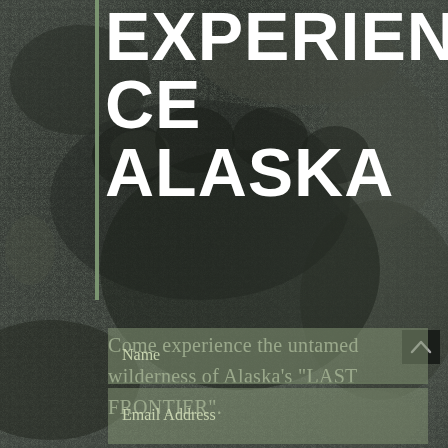[Figure (photo): Dark rocky/muddy terrain background with bear paw imprint, moody outdoor wilderness texture]
EXPERIENCE ALASKA
Come experience the untamed wilderness of Alaska's "LAST FRONTIER".
Name
Email Address